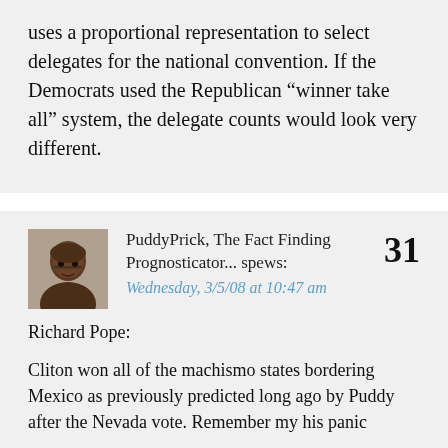uses a proportional representation to select delegates for the national convention. If the Democrats used the Republican “winner take all” system, the delegate counts would look very different.
PuddyPrick, The Fact Finding Prognosticator... spews:
Wednesday, 3/5/08 at 10:47 am
31
Richard Pope:
Cliton won all of the machismo states bordering Mexico as previously predicted long ago by Puddy after the Nevada vote. Remember my his panic